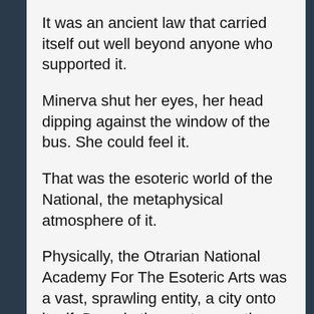It was an ancient law that carried itself out well beyond anyone who supported it.
Minerva shut her eyes, her head dipping against the window of the bus. She could feel it.
That was the esoteric world of the National, the metaphysical atmosphere of it.
Physically, the Otrarian National Academy For The Esoteric Arts was a vast, sprawling entity, a city onto itself. Deep in the center was the Old Campus, where